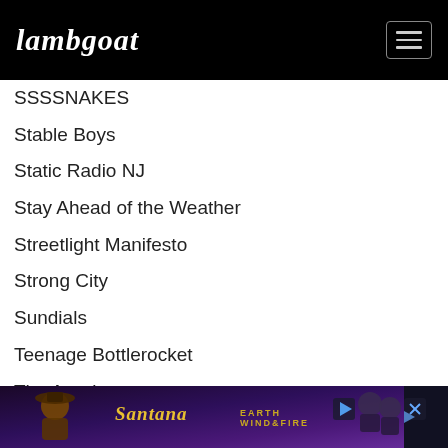Lambgoat
SSSSNAKES
Stable Boys
Static Radio NJ
Stay Ahead of the Weather
Streetlight Manifesto
Strong City
Sundials
Teenage Bottlerocket
The Arteries
The Cougs
The Dopamines
The E…
The Fa…
[Figure (screenshot): Advertisement banner for Santana and Earth Wind & Fire concert]